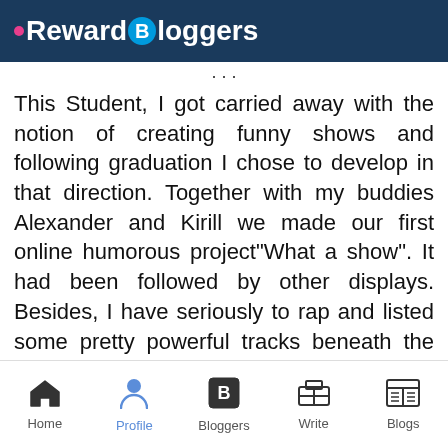RewardBloggers
This Student, I got carried away with the notion of creating funny shows and following graduation I chose to develop in that direction. Together with my buddies Alexander and Kirill we made our first online humorous project"What a show". It had been followed by other displays. Besides, I have seriously to rap and listed some pretty powerful tracks beneath the nickname MikeMike. Afterwards my friends and I made a comical rap band that warms up the Web using a new track.
Home | Profile | Bloggers | Write | Blogs